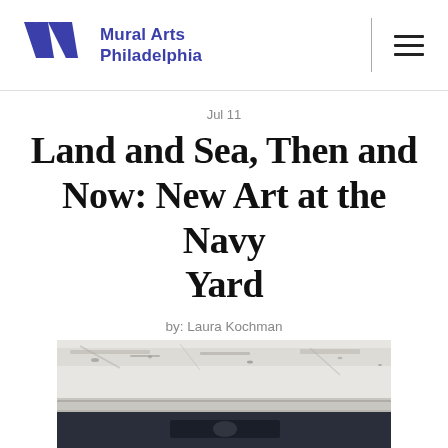Mural Arts Philadelphia
Jul 11
Land and Sea, Then and Now: New Art at the Navy Yard
by: Laura Kochman
[Figure (photo): Partial view of a weathered white painted surface with peeling paint and dark sign below, photographed at the Navy Yard]